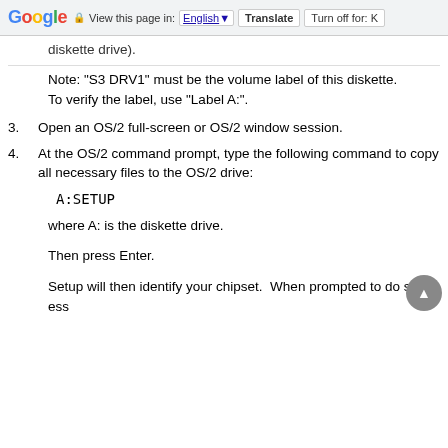Google | View this page in: English | Translate | Turn off for: K
diskette drive).
Note: "S3 DRV1" must be the volume label of this diskette. To verify the label, use "Label A:".
3.  Open an OS/2 full-screen or OS/2 window session.
4.  At the OS/2 command prompt, type the following command to copy all necessary files to the OS/2 drive:
A:SETUP
where A: is the diskette drive.
Then press Enter.
Setup will then identify your chipset.  When prompted to do so, press